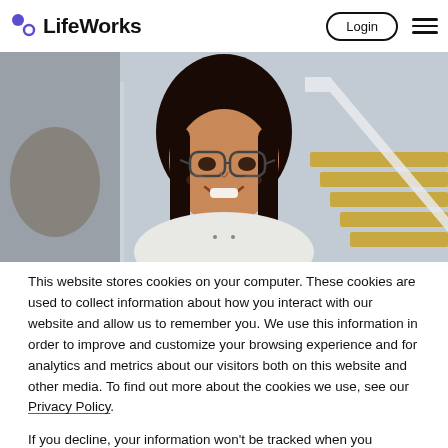[Figure (logo): LifeWorks logo with two colored dots (blue and purple) and bold text 'LifeWorks']
[Figure (other): Login button with rounded border and hamburger menu icon in the header]
[Figure (photo): Photo of a smiling woman with glasses and dark hair in a modern office/building interior with glass railings and stairs]
This website stores cookies on your computer. These cookies are used to collect information about how you interact with our website and allow us to remember you. We use this information in order to improve and customize your browsing experience and for analytics and metrics about our visitors both on this website and other media. To find out more about the cookies we use, see our Privacy Policy.
If you decline, your information won't be tracked when you